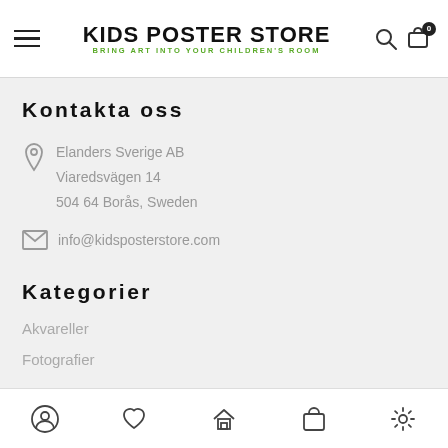KIDS POSTER STORE — BRING ART INTO YOUR CHILDREN'S ROOM
Kontakta oss
Elanders Sverige AB
Viaredsvägen 14
504 64 Borås, Sweden
info@kidsposterstore.com
Kategorier
Akvareller
Fotografier